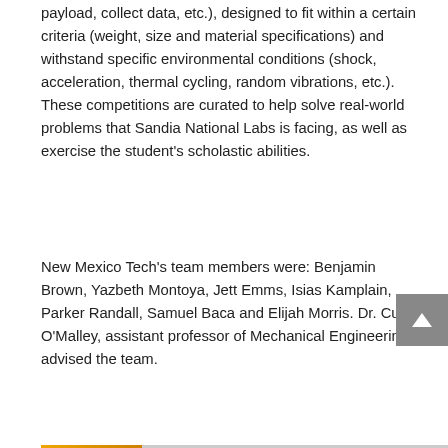payload, collect data, etc.), designed to fit within a certain criteria (weight, size and material specifications) and withstand specific environmental conditions (shock, acceleration, thermal cycling, random vibrations, etc.). These competitions are curated to help solve real-world problems that Sandia National Labs is facing, as well as exercise the student's scholastic abilities.
New Mexico Tech's team members were: Benjamin Brown, Yazbeth Montoya, Jett Emms, Isias Kamplain, Parker Randall, Samuel Baca and Elijah Morris. Dr. Curtis O'Malley, assistant professor of Mechanical Engineering, advised the team.